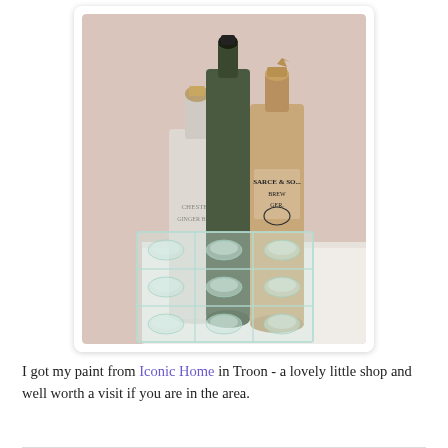[Figure (photo): Three antique stoneware bottles (white, dark green, and tan/brown) standing behind a clear glass 9-compartment bottle holder/caddy on a white surface against a textured wall.]
I got my paint from Iconic Home in Troon - a lovely little shop and well worth a visit if you are in the area.